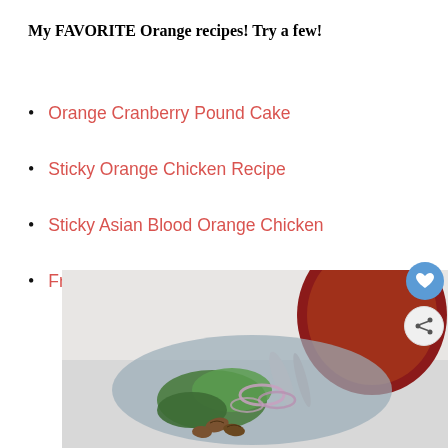My FAVORITE Orange recipes! Try a few!
Orange Cranberry Pound Cake
Sticky Orange Chicken Recipe
Sticky Asian Blood Orange Chicken
Fresh Cranberry Orange Scones
[Figure (photo): Close-up food photo showing a salad with greens, red onion slices, pecans, and what appears to be a blood orange or beet in the background, served on a plate with utensils]